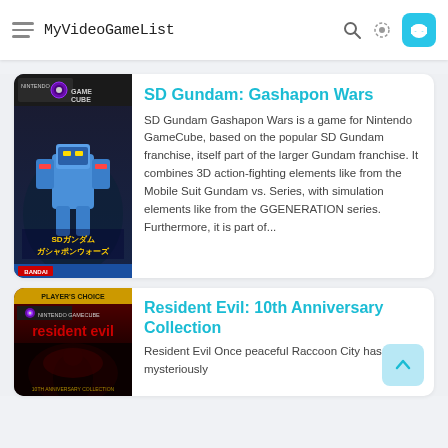MyVideoGameList
[Figure (screenshot): SD Gundam Gashapon Wars Nintendo GameCube game cover art showing robots/mecha characters with Japanese text and Bandai logo]
SD Gundam: Gashapon Wars
SD Gundam Gashapon Wars is a game for Nintendo GameCube, based on the popular SD Gundam franchise, itself part of the larger Gundam franchise. It combines 3D action-fighting elements like from the Mobile Suit Gundam vs. Series, with simulation elements like from the GGENERATION series. Furthermore, it is part of...
[Figure (screenshot): Resident Evil 10th Anniversary Collection Nintendo GameCube Player's Choice game cover art]
Resident Evil: 10th Anniversary Collection
Resident Evil Once peaceful Raccoon City has mysteriously